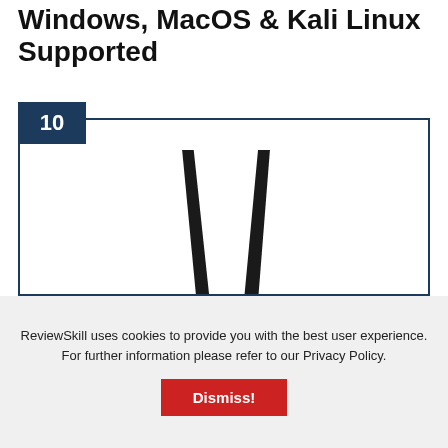Windows, MacOS & Kali Linux Supported
[Figure (photo): A black USB WiFi adapter with two tall antennas shown from the front against a white background, displayed inside a numbered product listing box with the number 10.]
ReviewSkill uses cookies to provide you with the best user experience. For further information please refer to our Privacy Policy.
Dismiss!